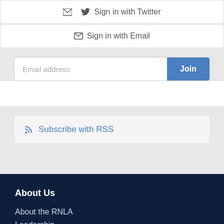Sign in with Twitter
Sign in with Email
Email address
Join
Subscribe with RSS
About Us
About the RNLA
Leadership
Local Contacts